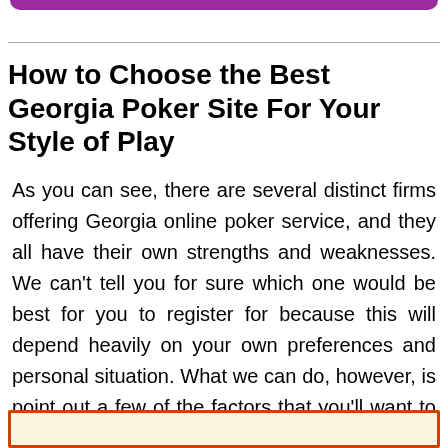How to Choose the Best Georgia Poker Site For Your Style of Play
As you can see, there are several distinct firms offering Georgia online poker service, and they all have their own strengths and weaknesses. We can't tell you for sure which one would be best for you to register for because this will depend heavily on your own preferences and personal situation. What we can do, however, is point out a few of the factors that you'll want to ponder over as you're making your decision.
[Figure (other): Orange-bordered box with cream/beige background at the bottom of the page]